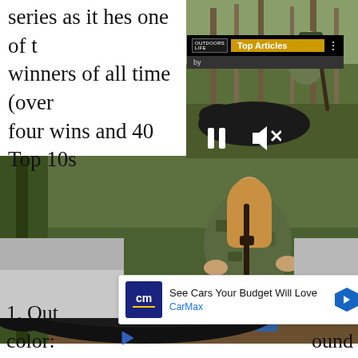series as it hes one of the winners of all time (over four wins and 40 Top 10s
[Figure (photo): Small hunting photo top right: woman in camo kneeling with rifle next to black bear, forest background]
[Figure (other): Top Articles widget overlay with OutdoorsLife logo and golden header]
[Figure (photo): Large hunting photo: woman in camo kneeling with rifle holding up black bear in forest setting]
1. Out ound color:
[Figure (other): CarMax advertisement: See Cars Your Budget Will Love, with cm logo and navigation arrow]